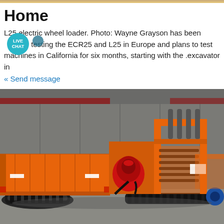Home
L25 electric wheel loader. Photo: Wayne Grayson has been testing the ECR25 and L25 in Europe and plans to test machines in California for six months, starting with the .excavator in
« Send message
[Figure (photo): Orange tracked dumper/carrier machine parked inside an industrial warehouse or manufacturing facility. The machine has rubber tracks, a large orange dump bed on the left, a red engine cover in the center, and orange roll-over protection structure (ROPS) on the right side. A blue wheel is visible at the front right. A second similar machine is partially visible in the background to the right.]